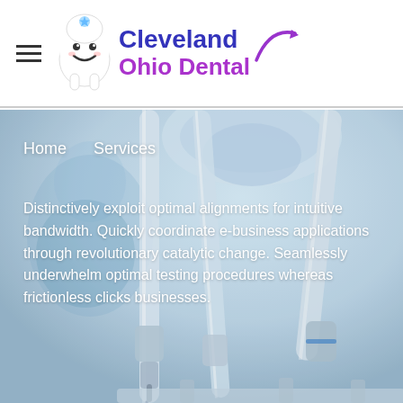[Figure (logo): Cleveland Ohio Dental logo with animated tooth character, blue and purple text, and a curved arrow swoosh]
[Figure (photo): Background photo of dental tools/instruments (scalers, drills) in close-up with blurred dentist and patient in background, light blue/white tones]
Home    Services
Distinctively exploit optimal alignments for intuitive bandwidth. Quickly coordinate e-business applications through revolutionary catalytic change. Seamlessly underwhelm optimal testing procedures whereas frictionless clicks businesses.